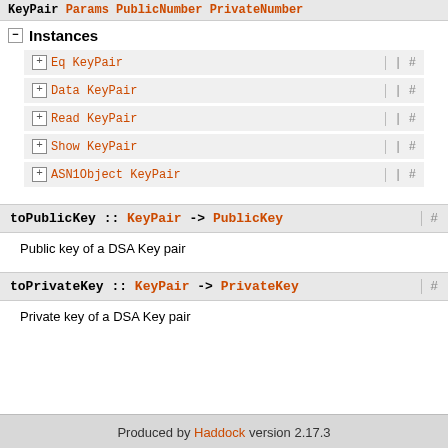KeyPair Params PublicNumber PrivateNumber
Instances
Eq KeyPair #
Data KeyPair #
Read KeyPair #
Show KeyPair #
ASN1Object KeyPair #
toPublicKey :: KeyPair -> PublicKey #
Public key of a DSA Key pair
toPrivateKey :: KeyPair -> PrivateKey #
Private key of a DSA Key pair
Produced by Haddock version 2.17.3